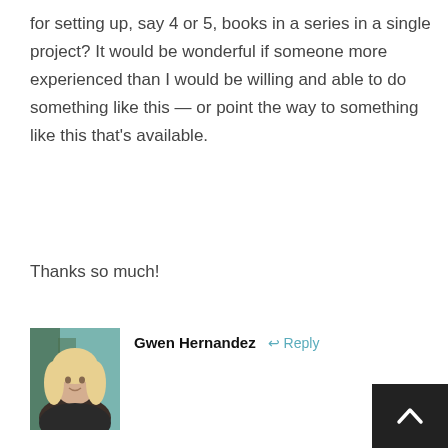for setting up, say 4 or 5, books in a series in a single project? It would be wonderful if someone more experienced than I would be willing and able to do something like this — or point the way to something like this that's available.
Thanks so much!
[Figure (photo): Profile photo of a blonde woman (Gwen Hernandez) against a teal background]
Gwen Hernandez   ↩ Reply
Gary: I think setting this up is eas out to be. If you know how to add  you're set. The link belo a s series Binder that I set up using t